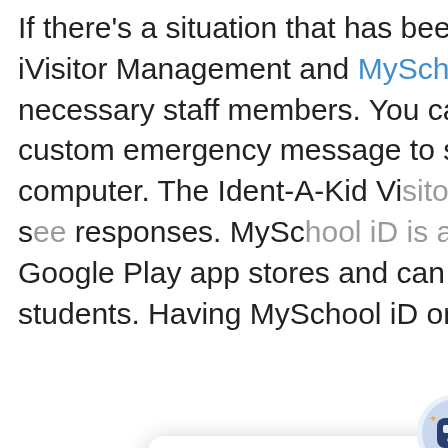If there's a situation that has been elevated to an emergency, iVisitor Management and MySchool iD will quickly notify all necessary staff members. You can quickly and easily create a custom emergency message to send from your phone, tablet, or computer. The Ident-A-Kid Visitor Manager records where you can s[ee] responses. MySc[hool iD is available on] both the iOS and Google Play app stores and can be used on 1-1 devices for students. Having MySchool iD on a[ll]
[Figure (screenshot): Chat widget popup showing a robot mascot icon at top, an X close button, and the text 'Got any questions for our Customer Success Team? I'm happy to help.' in blue, with a teal chat button at bottom right.]